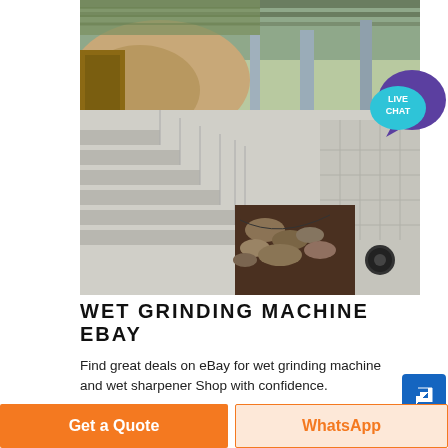[Figure (photo): Industrial wet grinding facility showing concrete stepped chute/trough structure with rocks/ore material and metal framework roof/canopy overhead, outdoor construction setting]
WET GRINDING MACHINE EBAY
Find great deals on eBay for wet grinding machine and wet sharpener Shop with confidence.